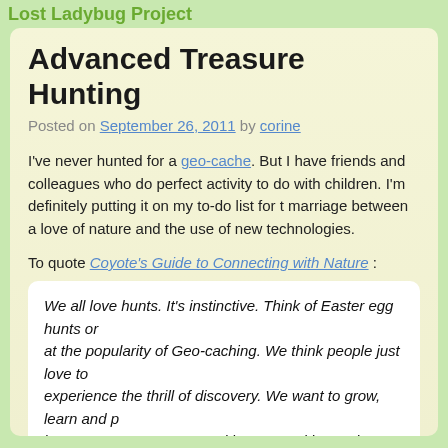Lost Ladybug Project
Advanced Treasure Hunting
Posted on September 26, 2011 by corine
I've never hunted for a geo-cache. But I have friends and colleagues who do. It seems like the perfect activity to do with children. I'm definitely putting it on my to-do list for this fall. It's a marriage between a love of nature and the use of new technologies.
To quote Coyote's Guide to Connecting with Nature :
We all love hunts. It's instinctive. Think of Easter egg hunts or... at the popularity of Geo-caching. We think people just love to... experience the thrill of discovery. We want to grow, learn and p... known. Hunts present us with opportunities to do exactly that. Media Corp. p. 87, 2010
For those of you who have no idea what geo-caching is I'd describe it as adv... Manitoba Geocaching Association says this about it: